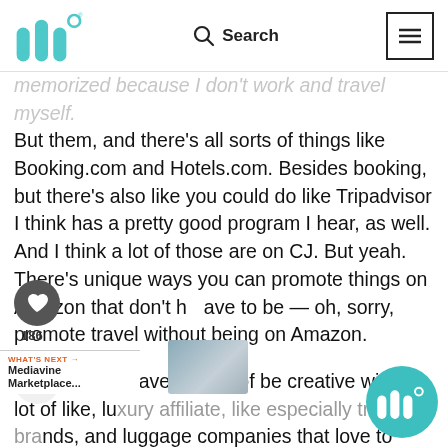Mediavine [logo] | Search | [menu]
memorized because I don't work and travel myself. But them, and there's all sorts of things like Booking.com and Hotels.com. Besides booking, but there's also like you could do like Tripadvisor I think has a pretty good program I hear, as well. And I think a lot of those are on CJ. But yeah. There's unique ways you can promote things on Amazon that don't have to be — oh, sorry, promote travel without being on Amazon.
…n, you just have to kind of be creative with a lot of like, luxury affiliate, like especially travel brands, and luggage companies that love to work with people to help them promote it.
[Figure (other): WHAT'S NEXT arrow Mediavine Marketplace thumbnail image]
[Figure (logo): Mediavine logo circle teal bottom right]